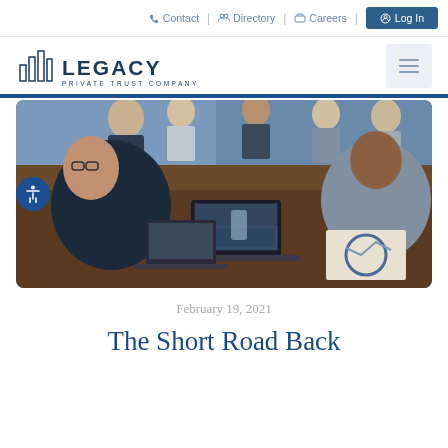Contact | Directory | Careers | Log In
[Figure (logo): Legacy Private Trust Company logo with bar chart icon and text]
[Figure (photo): Business meeting scene with multiple professionals sitting around a conference table with laptops and documents]
February 19, 2021
The Short Road Back